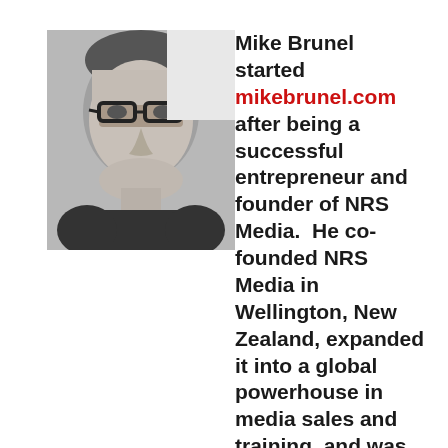[Figure (photo): Black and white portrait photo of Mike Brunel, a middle-aged man with glasses smiling]
Mike Brunel started mikebrunel.com after being a successful entrepreneur and founder of NRS Media.  He co-founded NRS Media in Wellington, New Zealand, expanded it into a global powerhouse in media sales and training, and was eventually responsible for opening offices in London, Atlanta, Toronto, Sydney, Capetown, and Bogota. His products and services are now sold in